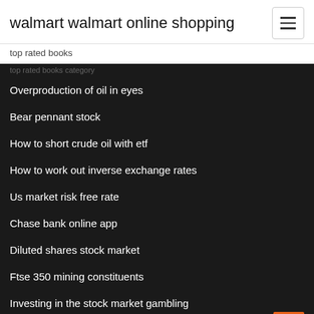walmart walmart online shopping
top rated books
Overproduction of oil in eyes
Bear pennant stock
How to short crude oil with etf
How to work out inverse exchange rates
Us market risk free rate
Chase bank online app
Diluted shares stock market
Ftse 350 mining constituents
Investing in the stock market gambling
Etfmg stock price